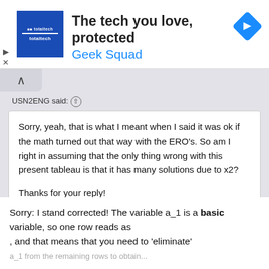[Figure (screenshot): Advertisement banner for Best Buy Totaltech / Geek Squad: 'The tech you love, protected' with blue logo box and navigation arrow diamond icon]
USN2ENG said: ↑
Sorry, yeah, that is what I meant when I said it was ok if the math turned out that way with the ERO's. So am I right in assuming that the only thing wrong with this present tableau is that it has many solutions due to x2?

Thanks for your reply!
Sorry: I stand corrected! The variable a_1 is a basic variable, so one row reads as , and that means that you need to 'eliminate' a_1 from the remaining rows to obtain...